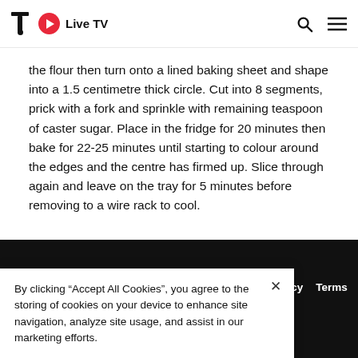Live TV
the flour then turn onto a lined baking sheet and shape into a 1.5 centimetre thick circle. Cut into 8 segments, prick with a fork and sprinkle with remaining teaspoon of caster sugar. Place in the fridge for 20 minutes then bake for 22-25 minutes until starting to colour around the edges and the centre has firmed up. Slice through again and leave on the tray for 5 minutes before removing to a wire rack to cool.
About  Press  Advertise  Careers  Contact  Privacy  Terms  Accessibility  Cookies Settings
By clicking “Accept All Cookies”, you agree to the storing of cookies on your device to enhance site navigation, analyze site usage, and assist in our marketing efforts.